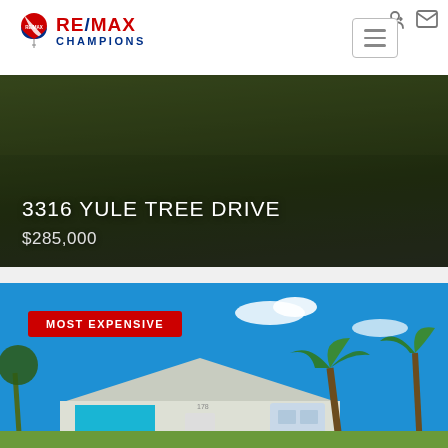[Figure (logo): RE/MAX Champions logo with red and blue balloon icon]
[Figure (photo): Aerial/ground photo of property at 3316 Yule Tree Drive with dark green lawn, overlaid with address and price text]
3316 YULE TREE DRIVE
$285,000
[Figure (photo): Photo of a Florida residential home with blue sky, palm trees, teal garage door, labeled MOST EXPENSIVE]